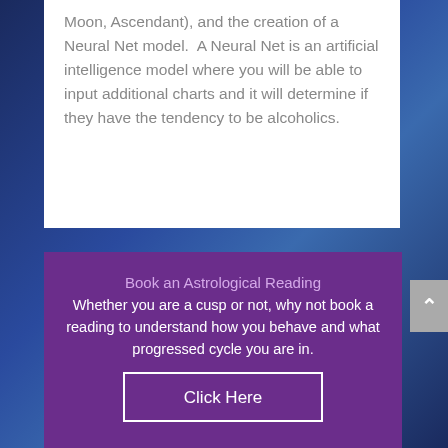Moon, Ascendant), and the creation of a Neural Net model.  A Neural Net is an artificial intelligence model where you will be able to input additional charts and it will determine if they have the tendency to be alcoholics.
Book an Astrological Reading
Whether you are a cusp or not, why not book a reading to understand how you behave and what progressed cycle you are in.
Click Here